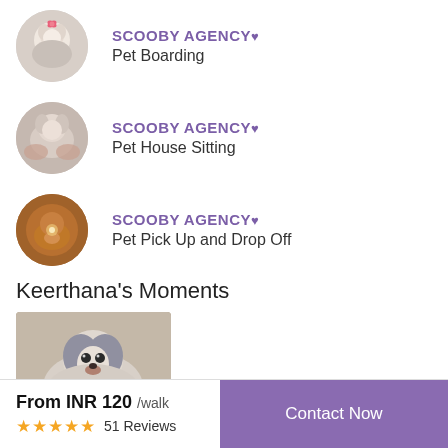[Figure (photo): Circular avatar photo of a small white fluffy dog being held]
SCOOBY AGENCY♥
Pet Boarding
[Figure (photo): Circular avatar photo of a small dog being held]
SCOOBY AGENCY♥
Pet House Sitting
[Figure (photo): Circular avatar photo showing a brown puppy or dog close-up]
SCOOBY AGENCY♥
Pet Pick Up and Drop Off
Keerthana's Moments
[Figure (photo): Photo of a Shih Tzu dog with long grey and white fur]
From INR 120 /walk
★★★★★  51 Reviews
Contact Now